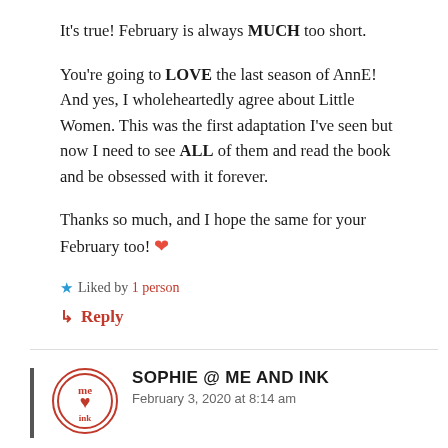It’s true! February is always MUCH too short.
You’re going to LOVE the last season of AnnE! And yes, I wholeheartedly agree about Little Women. This was the first adaptation I’ve seen but now I need to see ALL of them and read the book and be obsessed with it forever.
Thanks so much, and I hope the same for your February too! ❤
★ Liked by 1 person
↳ Reply
SOPHIE @ ME AND INK
February 3, 2020 at 8:14 am